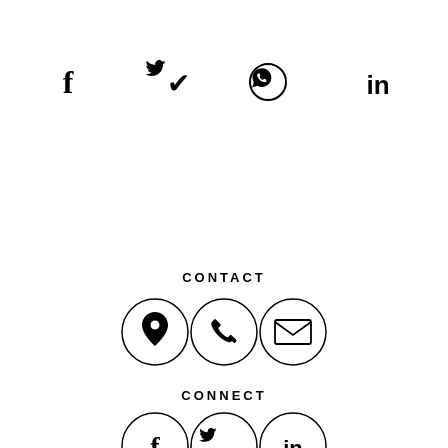[Figure (infographic): Four social media share icons in a row: Facebook (f), Twitter (bird), WhatsApp (phone in circle), LinkedIn (in)]
CONTACT
[Figure (infographic): Three circular icon buttons in a row: location pin, phone handset, envelope/mail]
CONNECT
[Figure (infographic): Three circular icon buttons partially visible at bottom: Facebook, Twitter/bird, LinkedIn]